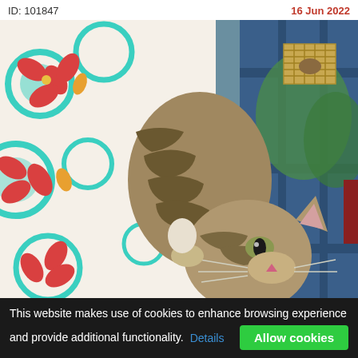ID: 101847    16 Jun 2022
[Figure (photo): A tabby cat peeking out from behind a colorful patterned fabric/curtain with a blue wooden fence in the background and a bird feeder visible in the upper right. The cat is striped brown/grey tabby and appears to be climbing or hanging on the fabric.]
This website makes use of cookies to enhance browsing experience and provide additional functionality.  Details  Allow cookies